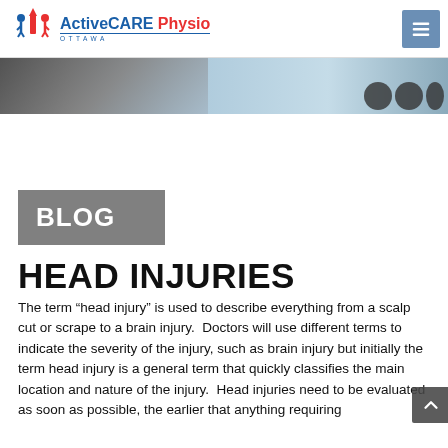ActiveCARE Physio Ottawa
[Figure (screenshot): Hero banner image strip showing a keyboard and blue background elements]
BLOG
HEAD INJURIES
The term “head injury” is used to describe everything from a scalp cut or scrape to a brain injury.  Doctors will use different terms to indicate the severity of the injury, such as brain injury but initially the term head injury is a general term that quickly classifies the main location and nature of the injury.  Head injuries need to be evaluated as soon as possible, the earlier that anything requiring